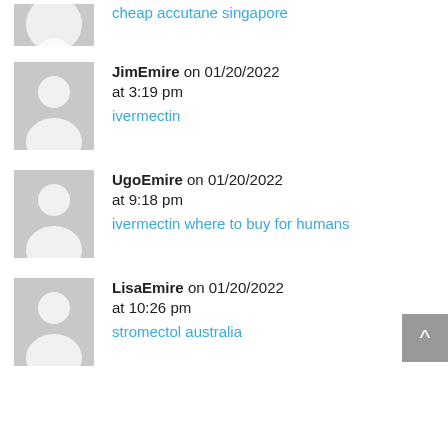[Figure (illustration): Partial gray avatar placeholder at top of page, cropped]
cheap accutane singapore
[Figure (illustration): Gray avatar placeholder silhouette for JimEmire]
JimEmire on 01/20/2022 at 3:19 pm ivermectin
[Figure (illustration): Gray avatar placeholder silhouette for UgoEmire]
UgoEmire on 01/20/2022 at 9:18 pm ivermectin where to buy for humans
[Figure (illustration): Gray avatar placeholder silhouette for LisaEmire]
LisaEmire on 01/20/2022 at 10:26 pm stromectol australia